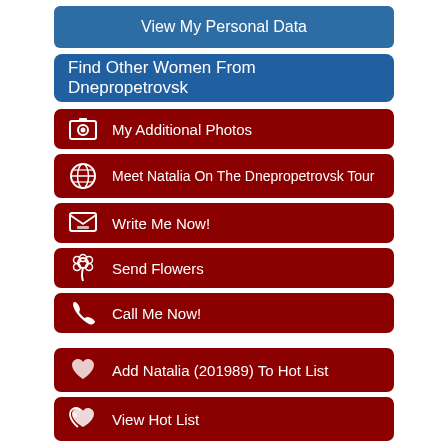View My Personal Data
Find Other Women From Dnepropetrovsk
My Additional Photos
Meet Natalia On The Dnepropetrovsk Tour
Write Me Now!
Send Flowers
Call Me Now!
Add Natalia (201989) To Hot List
View Hot List